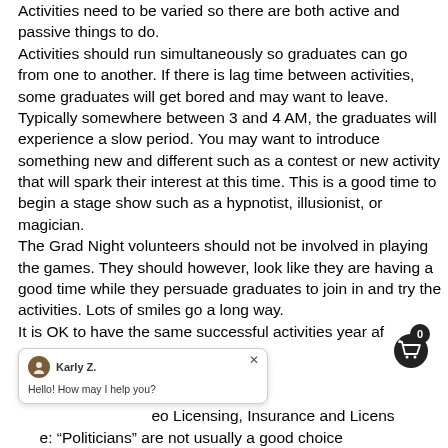Activities need to be varied so there are both active and passive things to do. Activities should run simultaneously so graduates can go from one to another. If there is lag time between activities, some graduates will get bored and may want to leave. Typically somewhere between 3 and 4 AM, the graduates will experience a slow period. You may want to introduce something new and different such as a contest or new activity that will spark their interest at this time. This is a good time to begin a stage show such as a hypnotist, illusionist, or magician. The Grad Night volunteers should not be involved in playing the games. They should however, look like they are having a good time while they persuade graduates to join in and try the activities. Lots of smiles go a long way. It is OK to have the same successful activities year af
eo Licensing, Insurance and Licens
e: “Politicians” are not usually a good choice